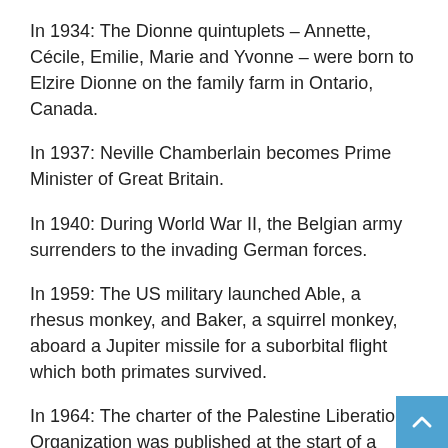In 1934: The Dionne quintuplets – Annette, Cécile, Emilie, Marie and Yvonne – were born to Elzire Dionne on the family farm in Ontario, Canada.
In 1937: Neville Chamberlain becomes Prime Minister of Great Britain.
In 1940: During World War II, the Belgian army surrenders to the invading German forces.
In 1959: The US military launched Able, a rhesus monkey, and Baker, a squirrel monkey, aboard a Jupiter missile for a suborbital flight which both primates survived.
In 1964: The charter of the Palestine Liberation Organization was published at the start of a meeting of the Palestinian National Congress in Jerusalem.
In 1972: Edward, the Duke of Windsor, who had abdicated the throne of England to marry Wallis Warfield Simpson, died in Paris at the age of 77.